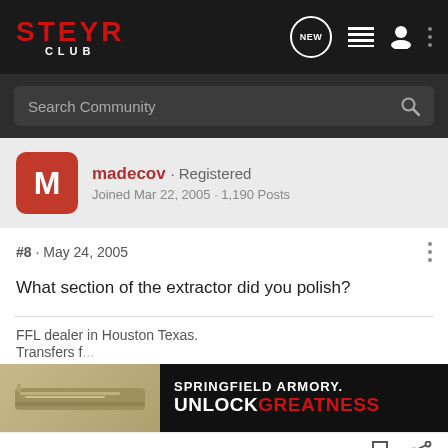STEYR CLUB
Search Community
madecov · Registered
Joined Mar 22, 2005 · 1,190 Posts
#8 · May 24, 2005
What section of the extractor did you polish?
FFL dealer in Houston Texas.
Transfers f...
[Figure (photo): Springfield Armory advertisement banner showing a pistol slide with text SPRINGFIELD ARMORY. UNLOCK GREATNESS]